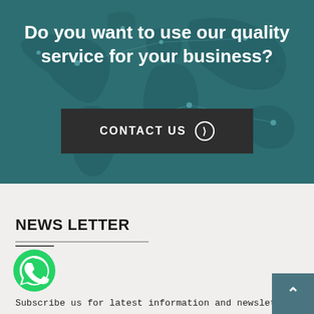Do you want to use our quality service for your business?
CONTACT US ❯
NEWS LETTER
[Figure (logo): WhatsApp green logo icon]
Subscribe us for latest information and newsletters